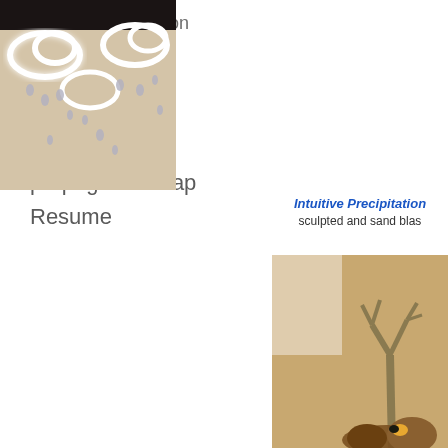Bar Collaboration
R/D
statement
contact
links
propoganda map
Resume
[Figure (photo): Art installation photo showing glowing white cloud shapes on a wall with hanging metallic droplets in a gallery setting]
Intuitive Precipitation
sculpted and sand blas
[Figure (photo): Partial photo showing a sculptural piece with branch-like forms and rounded base elements in warm brown tones]